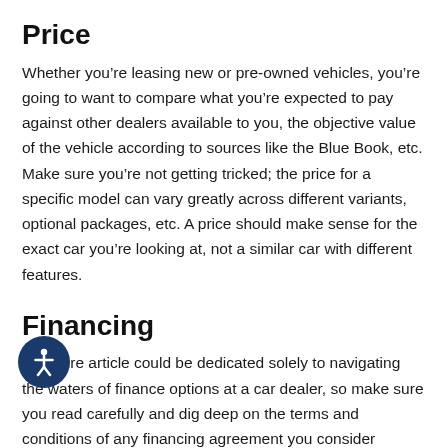Price
Whether you’re leasing new or pre-owned vehicles, you’re going to want to compare what you’re expected to pay against other dealers available to you, the objective value of the vehicle according to sources like the Blue Book, etc. Make sure you’re not getting tricked; the price for a specific model can vary greatly across different variants, optional packages, etc. A price should make sense for the exact car you’re looking at, not a similar car with different features.
Financing
An entire article could be dedicated solely to navigating the waters of finance options at a car dealer, so make sure you read carefully and dig deep on the terms and conditions of any financing agreement you consider signing. Ask plenty of questions about anything you don’t understand, and trust your instincts—if it doesn’t sound right, you owe yourself a quick Google at the very least to make sure things are above board. If a third party will